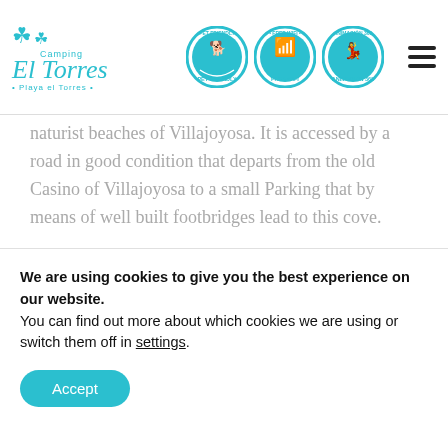[Figure (logo): Camping El Torres logo with shamrock leaves and teal text, 'Camping El Torres • Playa el Torres •']
[Figure (infographic): Three teal circular badges: Pet Friendly, Free WiFi, Animación 365]
naturist beaches of Villajoyosa. It is accessed by a road in good condition that departs from the old Casino of Villajoyosa to a small Parking that by means of well built footbridges lead to this cove.
[Figure (photo): Panoramic landscape photo showing blue sky and green pine trees]
We are using cookies to give you the best experience on our website.
You can find out more about which cookies we are using or switch them off in settings.
Accept